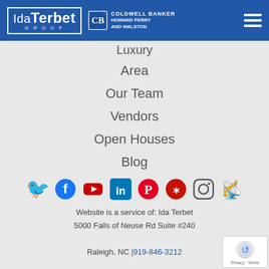[Figure (logo): Ida Terbet Group logo and Coldwell Banker Howard Perry and Walston logo in blue header bar]
Luxury
Area
Our Team
Vendors
Open Houses
Blog
[Figure (infographic): Social media icons row: Twitter, Facebook, YouTube, LinkedIn, Pinterest, Yelp, Instagram, Blog/RSS]
Website is a service of: Ida Terbet
5000 Falls of Neuse Rd Suite #240
Raleigh, NC |919-846-3212